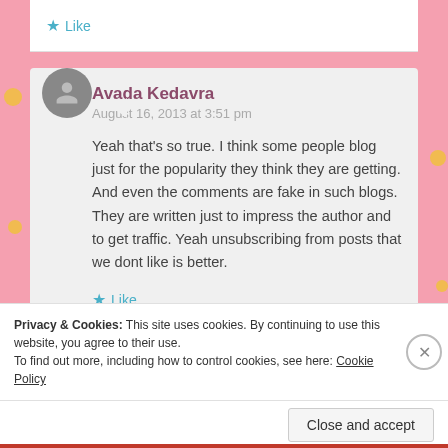Like
Avada Kedavra
August 16, 2013 at 3:51 pm

Yeah that's so true. I think some people blog just for the popularity they think they are getting. And even the comments are fake in such blogs. They are written just to impress the author and to get traffic. Yeah unsubscribing from posts that we dont like is better.
Like
Privacy & Cookies: This site uses cookies. By continuing to use this website, you agree to their use.
To find out more, including how to control cookies, see here: Cookie Policy
Close and accept